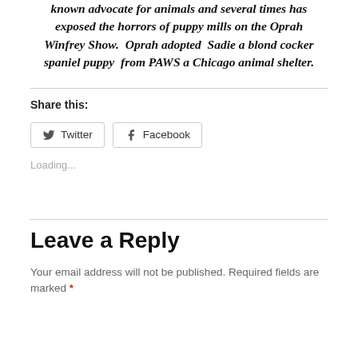known advocate for animals and several times has exposed the horrors of puppy mills on the Oprah Winfrey Show.  Oprah adopted  Sadie a blond cocker spaniel puppy  from PAWS a Chicago animal shelter.
Share this:
Twitter  Facebook
Loading...
Leave a Reply
Your email address will not be published. Required fields are marked *